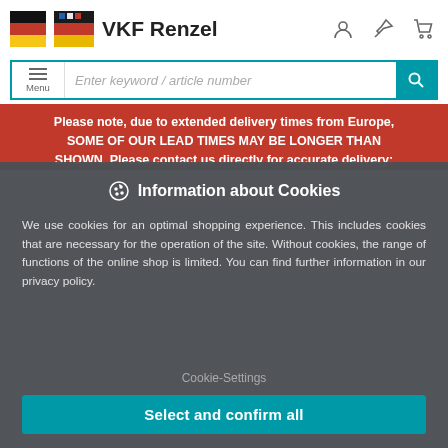[Figure (screenshot): VKF Renzel website header with logo, user/pin/cart icons]
[Figure (screenshot): Search bar with Menu button and teal search icon, placeholder: Enter keyword / article number]
Please note, due to extended delivery times from Europe, SOME OF OUR LEAD TIMES MAY BE LONGER THAN SHOWN. Please contact us directly for accurate delivery:
Information about Cookies
We use cookies for an optimal shopping experience. This includes cookies that are necessary for the operation of the site. Without cookies, the range of functions of the online shop is limited. You can find further information in our privacy policy.
Cookie-Settings
Select and confirm all